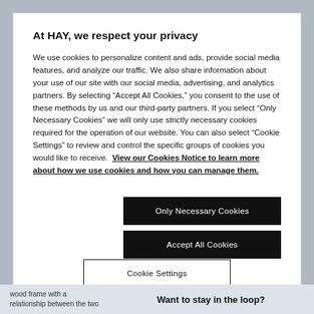At HAY, we respect your privacy
We use cookies to personalize content and ads, provide social media features, and analyze our traffic. We also share information about your use of our site with our social media, advertising, and analytics partners. By selecting “Accept All Cookies,” you consent to the use of these methods by us and our third-party partners. If you select “Only Necessary Cookies” we will only use strictly necessary cookies required for the operation of our website. You can also select “Cookie Settings” to review and control the specific groups of cookies you would like to receive. View our Cookies Notice to learn more about how we use cookies and how you can manage them.
Only Necessary Cookies
Accept All Cookies
Cookie Settings
wood frame with a
relationship between the two
Want to stay in the loop?